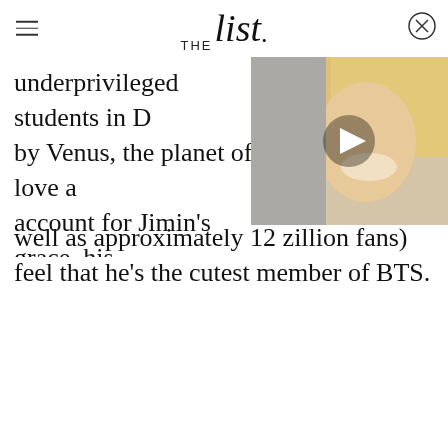THE list
underprivileged students in [text cut off] by Venus, the planet of love a[nd...] account for Jimin's grace, his[...] that Koreaboo reports even [...] well as approximately 12 zillion fans) feel that he's the cutest member of BTS.
[Figure (photo): Video thumbnail showing a smiling blonde woman with a play button overlay]